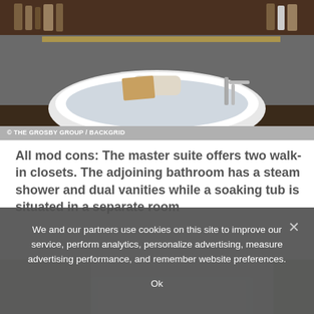[Figure (photo): Interior photo of a luxury bathroom with a large freestanding soaking tub, chrome fixtures, and dark wood paneling with shelves of products in background]
All mod cons: The master suite offers two walk-in closets. The adjoining bathroom has a steam shower and dual vanities while a soaking tub is situated in a separate room
[Figure (photo): Interior photo of a room with decorated walls covered in framed artwork/paintings, patterned wallpaper, and a skylight on the ceiling]
We and our partners use cookies on this site to improve our service, perform analytics, personalize advertising, measure advertising performance, and remember website preferences.
Ok